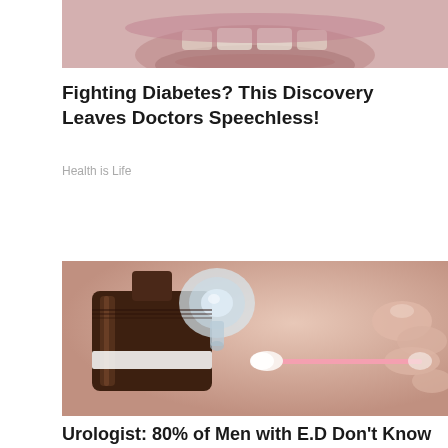[Figure (photo): Close-up photo of a person's mouth/lips area, top portion cropped]
Fighting Diabetes? This Discovery Leaves Doctors Speechless!
Health is Life
[Figure (photo): Close-up photo of a dark brown bottle with a dropper cap, and a hand holding a cotton swab near it, set against a skin-toned background]
Urologist: 80% of Men with E.D Don't Know About This Easy